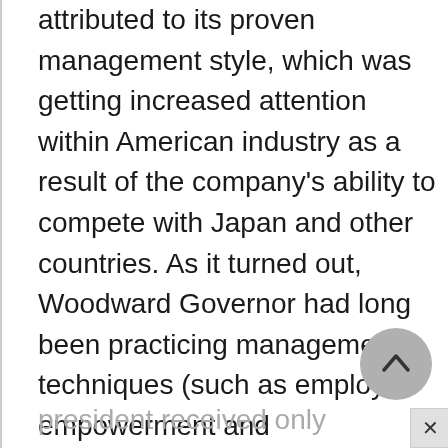attributed to its proven management style, which was getting increased attention within American industry as a result of the company's ability to compete with Japan and other countries. As it turned out, Woodward Governor had long been practicing management techniques (such as employee empowerment and performance-based incentives) that were emerging as major trends in the 1980s. For example, the company's president received only $247,000 in